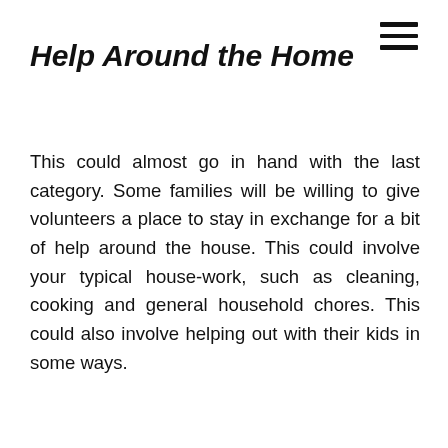Help Around the Home
This could almost go in hand with the last category. Some families will be willing to give volunteers a place to stay in exchange for a bit of help around the house. This could involve your typical house-work, such as cleaning, cooking and general household chores. This could also involve helping out with their kids in some ways.